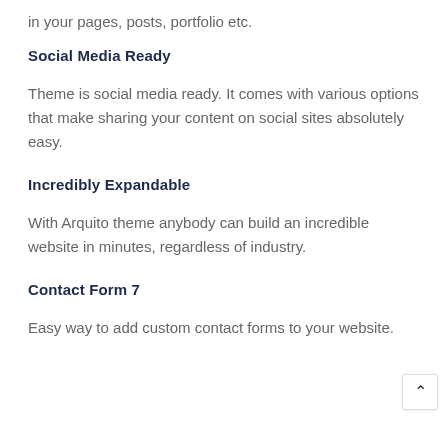in your pages, posts, portfolio etc.
Social Media Ready
Theme is social media ready. It comes with various options that make sharing your content on social sites absolutely easy.
Incredibly Expandable
With Arquito theme anybody can build an incredible website in minutes, regardless of industry.
Contact Form 7
Easy way to add custom contact forms to your website.